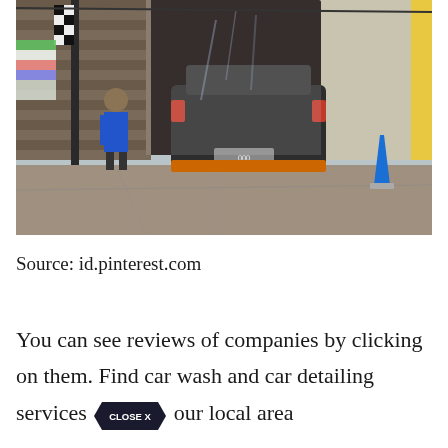[Figure (photo): A car being washed at an outdoor car wash facility. The rear of a dark SUV is visible as it enters a washing bay. A worker in blue uniform is seen on the left. A blue traffic cone is visible on the right side of the scene.]
Source: id.pinterest.com
You can see reviews of companies by clicking on them. Find car wash and car detailing services at our local area